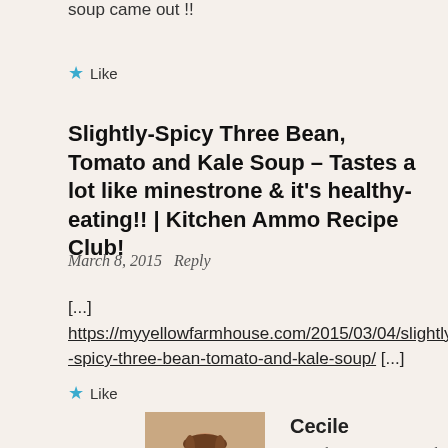soup came out !!
★ Like
Slightly-Spicy Three Bean, Tomato and Kale Soup – Tastes a lot like minestrone & it's healthy-eating!! | Kitchen Ammo Recipe Club!
March 8, 2015  Reply
[...] https://myyellowfarmhouse.com/2015/03/04/slightly-spicy-three-bean-tomato-and-kale-soup/ [...]
★ Like
Cecile
March 12, 2015   Reply